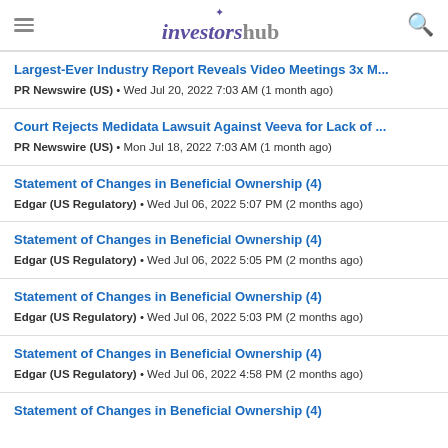investorshub
Largest-Ever Industry Report Reveals Video Meetings 3x M...
PR Newswire (US) • Wed Jul 20, 2022 7:03 AM (1 month ago)
Court Rejects Medidata Lawsuit Against Veeva for Lack of ...
PR Newswire (US) • Mon Jul 18, 2022 7:03 AM (1 month ago)
Statement of Changes in Beneficial Ownership (4)
Edgar (US Regulatory) • Wed Jul 06, 2022 5:07 PM (2 months ago)
Statement of Changes in Beneficial Ownership (4)
Edgar (US Regulatory) • Wed Jul 06, 2022 5:05 PM (2 months ago)
Statement of Changes in Beneficial Ownership (4)
Edgar (US Regulatory) • Wed Jul 06, 2022 5:03 PM (2 months ago)
Statement of Changes in Beneficial Ownership (4)
Edgar (US Regulatory) • Wed Jul 06, 2022 4:58 PM (2 months ago)
Statement of Changes in Beneficial Ownership (4)